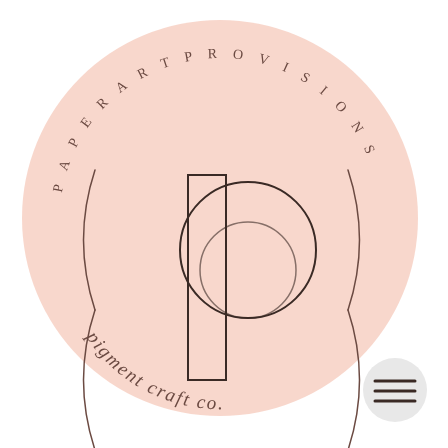[Figure (logo): Circular logo for 'Pigment Craft Co.' with pink background. Top curved text reads 'PAPER ART PROVISIONS' in spaced uppercase letters. Center shows a geometric letter P made of a tall rectangle and a circle outline. Bottom curved text reads 'pigment craft co.' in lowercase. Decorative curved parenthesis brackets on left and right sides. Small hamburger menu icon in bottom right corner.]